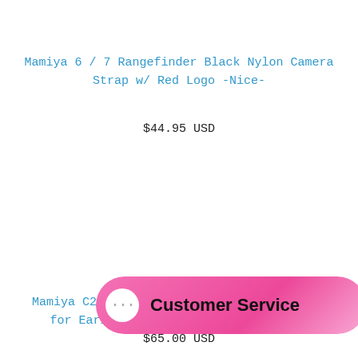Mamiya 6 / 7 Rangefinder Black Nylon Camera Strap w/ Red Logo -Nice-
$44.95 USD
Mamiya C220 C330 TL... for Early 80mm...
$65.00 USD